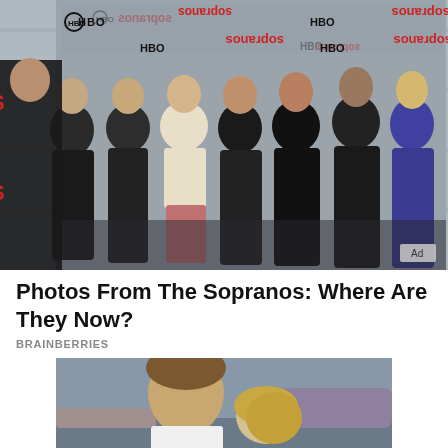[Figure (photo): Group photo of seven women at The Sopranos event, standing in front of an HBO and Sopranos branded step-and-repeat backdrop. An 'Ad' badge appears in the bottom right corner of the image.]
Photos From The Sopranos: Where Are They Now?
BRAINBERRIES
[Figure (photo): Close-up photo of a man with brown hair in a white shirt looking down at a blonde woman, photographed from behind. Background shows cars and an outdoor setting.]